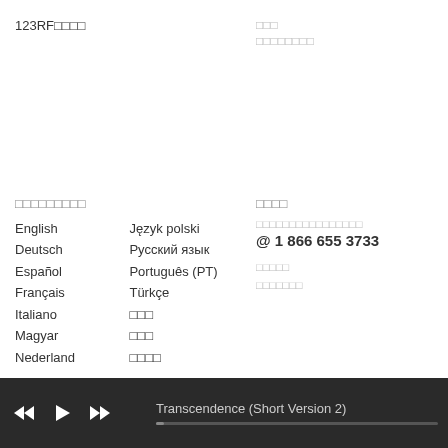123RF□□□□
□□□
□□□□□□□□
□□□□□□□□□
□□□□
English
Deutsch
Español
Français
Italiano
Magyar
Nederland
Język polski
Русский язык
Português (PT)
Türkçe
□□□
□□□
□□□□
□□□□□□□□□□□□□□□□
@ 1 866 655 3733
□□□□□
□□□□□□□
Transcendence (Short Version 2)